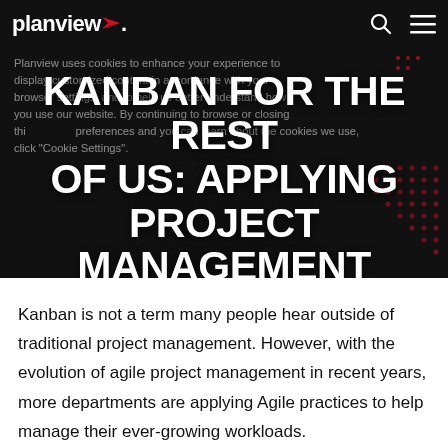planview.
KANBAN FOR THE REST OF US: APPLYING PROJECT MANAGEMENT PRINCIPLES
Planview uses cookies to enhance your experience to display customized content in accordance with your browser settings, and to help us better understand how you use our website. By continuing to browse or closing this banner, you acknowledge our privacy preferences and you can learn more about the cookies we use, click "Cookie Settings".
Kanban is not a term many people hear outside of traditional project management. However, with the evolution of agile project management in recent years, more departments are applying Agile practices to help manage their ever-growing workloads.